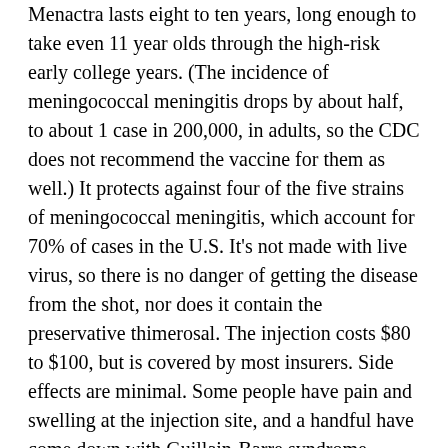Menactra lasts eight to ten years, long enough to take even 11 year olds through the high-risk early college years. (The incidence of meningococcal meningitis drops by about half, to about 1 case in 200,000, in adults, so the CDC does not recommend the vaccine for them as well.) It protects against four of the five strains of meningococcal meningitis, which account for 70% of cases in the U.S. It's not made with live virus, so there is no danger of getting the disease from the shot, nor does it contain the preservative thimerosal. The injection costs $80 to $100, but is covered by most insurers. Side effects are minimal. Some people have pain and swelling at the injection site, and a handful have come down with Guillain-Barre syndrome (GBS), a neurological disorder, after receiving Menactra. People who have been diagnosed with GBS are advised not to get Menactra.
That worries some vaccine critics, particularly when Menactra and the HPV vaccine are given together. "This the first time we have ever given adolescents multiple vaccines. Where are the studies that look at whether or not this is a healthy thing to do over the long term?" asks Barbara Loe Fisher, co-founder of the National Vaccine Information Center, a nonprofit activist group. She notes